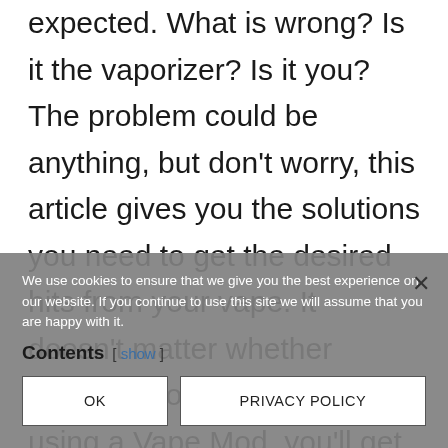expected. What is wrong? Is it the vaporizer? Is it you? The problem could be anything, but don't worry, this article gives you the solutions you need to get the desired hits from your vape. It doesn't matter whether you're vaporizing dry herb or using a Vape Mod, you'll get the biggest hits out of your vape as soon as you're done with this article.
We use cookies to ensure that we give you the best experience on our website. If you continue to use this site we will assume that you are happy with it.
Contents [ show ]